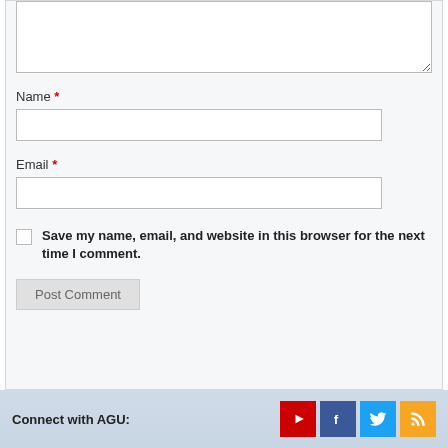[Figure (screenshot): Web form with textarea (partially visible), Name and Email input fields, a save checkbox, and Post Comment button]
Name *
Email *
Save my name, email, and website in this browser for the next time I comment.
Post Comment
Connect with AGU: